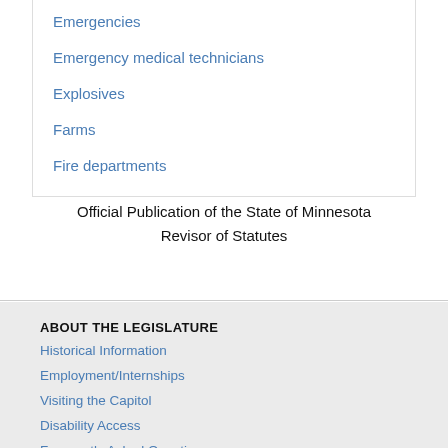Emergencies
Emergency medical technicians
Explosives
Farms
Fire departments
Official Publication of the State of Minnesota
Revisor of Statutes
ABOUT THE LEGISLATURE
Historical Information
Employment/Internships
Visiting the Capitol
Disability Access
Frequently Asked Questions
CONTACT YOUR LEGISLATOR
Who Represents Me?